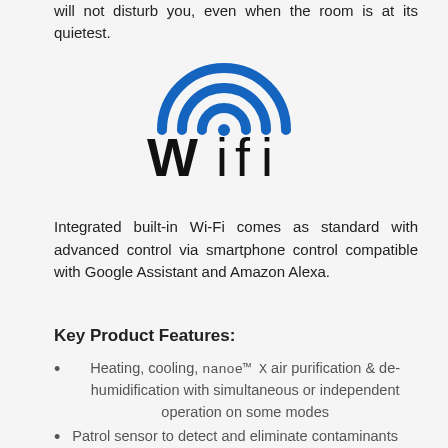will not disturb you, even when the room is at its quietest.
[Figure (logo): WiFi logo with blue arc signal waves above bold black 'Wifi' text and a blue dot]
Integrated built-in Wi-Fi comes as standard with advanced control via smartphone control compatible with Google Assistant and Amazon Alexa.
Key Product Features:
Heating, cooling, nanoe™ X air purification & de-humidification with simultaneous or independent operation on some modes
Patrol sensor to detect and eliminate contaminants